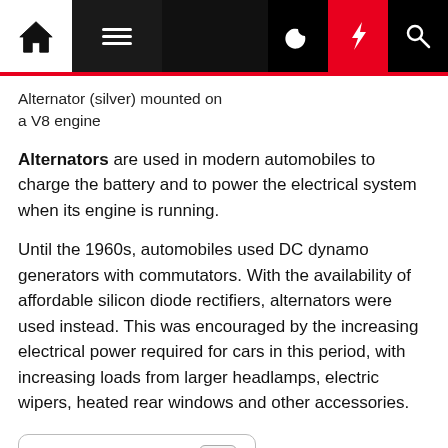Navigation bar with home, menu, dark mode, bolt, and search icons
Alternator (silver) mounted on a V8 engine
Alternators are used in modern automobiles to charge the battery and to power the electrical system when its engine is running.
Until the 1960s, automobiles used DC dynamo generators with commutators. With the availability of affordable silicon diode rectifiers, alternators were used instead. This was encouraged by the increasing electrical power required for cars in this period, with increasing loads from larger headlamps, electric wipers, heated rear windows and other accessories.
Table of Contents